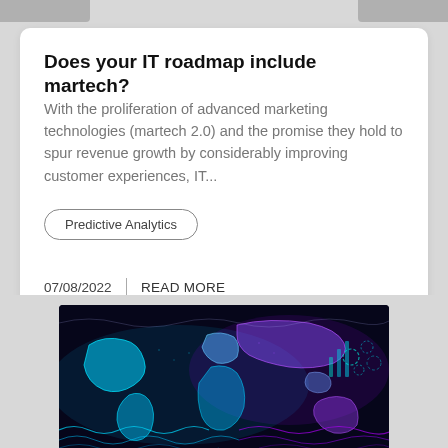Does your IT roadmap include martech?
With the proliferation of advanced marketing technologies (martech 2.0) and the promise they hold to spur revenue growth by considerably improving customer experiences, IT...
Predictive Analytics
07/08/2022  |  READ MORE
[Figure (photo): World map with glowing cyan and purple neon lights and wave patterns on dark background, representing global data analytics or fintech visualization]